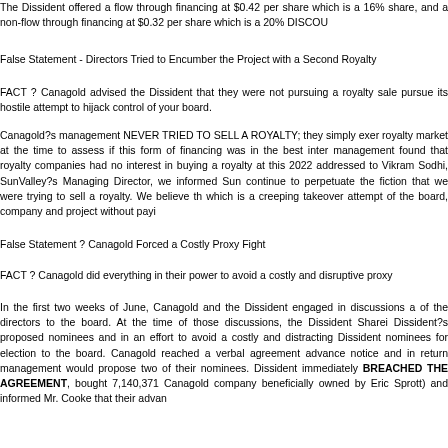The Dissident offered a flow through financing at $0.42 per share which is a 16% share, and a non-flow through financing at $0.32 per share which is a 20% DISCOU
False Statement - Directors Tried to Encumber the Project with a Second Royalty
FACT ? Canagold advised the Dissident that they were not pursuing a royalty sale pursue its hostile attempt to hijack control of your board.
Canagold?s management NEVER TRIED TO SELL A ROYALTY; they simply exer royalty market at the time to assess if this form of financing was in the best inter management found that royalty companies had no interest in buying a royalty at this 2022 addressed to Vikram Sodhi, SunValley?s Managing Director, we informed Sun continue to perpetuate the fiction that we were trying to sell a royalty. We believe th which is a creeping takeover attempt of the board, company and project without payi
False Statement ? Canagold Forced a Costly Proxy Fight
FACT ? Canagold did everything in their power to avoid a costly and disruptive proxy
In the first two weeks of June, Canagold and the Dissident engaged in discussions a of the directors to the board. At the time of those discussions, the Dissident Sharei Dissident?s proposed nominees and in an effort to avoid a costly and distracting Dissident nominees for election to the board. Canagold reached a verbal agreement advance notice and in return management would propose two of their nominees. Dissident immediately BREACHED THE AGREEMENT, bought 7,140,371 Canagold company beneficially owned by Eric Sprott) and informed Mr. Cooke that their advan